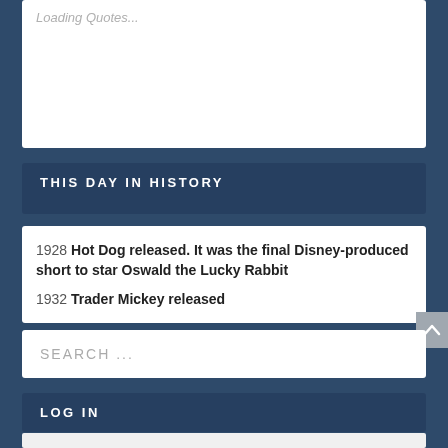Loading Quotes...
THIS DAY IN HISTORY
1928 Hot Dog released. It was the final Disney-produced short to star Oswald the Lucky Rabbit
1932 Trader Mickey released
SEARCH ...
LOG IN